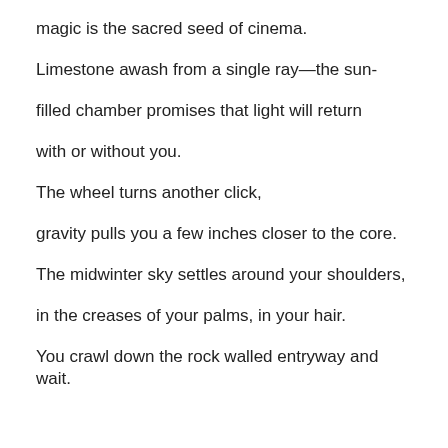magic is the sacred seed of cinema.
Limestone awash from a single ray—the sun-
filled chamber promises that light will return
with or without you.
The wheel turns another click,
gravity pulls you a few inches closer to the core.
The midwinter sky settles around your shoulders,
in the creases of your palms, in your hair.
You crawl down the rock walled entryway and wait.